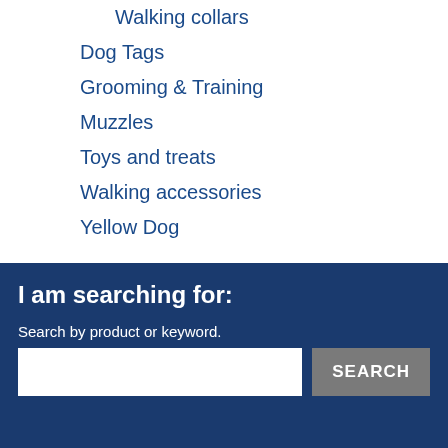Walking collars
Dog Tags
Grooming & Training
Muzzles
Toys and treats
Walking accessories
Yellow Dog
For any queries relating to the Forever Hounds Trust shop, please email shop@foreverhoundstrust.org
I am searching for:
Search by product or keyword.